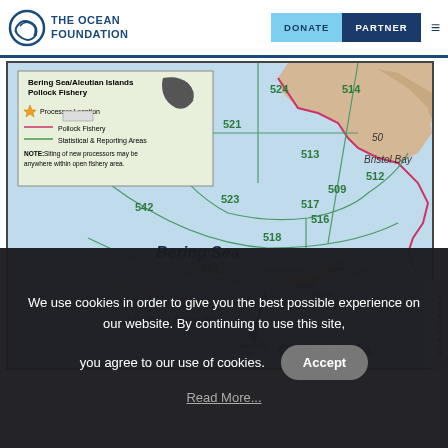The Ocean Foundation | DONATE | PARTNER
[Figure (map): Bering Sea/Aleutian Islands Pollock Fishery map showing statistical and reporting areas numbered 509, 512, 513, 514, 516, 517, 518, 521, 523, 524, 530, 541, 542, 543. Shows Bristol Bay, Bering Sea, Aleutian Islands, Gulf of Alaska regions. Includes legend for Processor Location, Pollock Fishery, and Statistical & Reporting Areas. Processor locations marked with star icons near Dutch Harbor, Akutan, King Cove, and Beaver Island areas.]
We use cookies in order to give you the best possible experience on our website. By continuing to use this site, you agree to our use of cookies.
Accept
Read More...